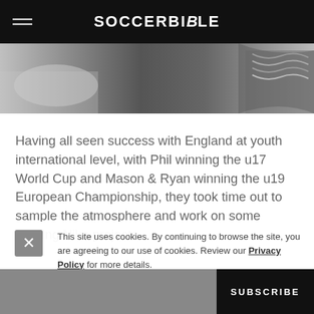SOCCERBIBLE
[Figure (photo): Partial hero image showing shoes/sneakers in grayscale]
Having all seen success with England at youth international level, with Phil winning the u17 World Cup and Mason & Ryan winning the u19 European Championship, they took time out to sample the atmosphere and work on some exciting Nike projects
This site uses cookies. By continuing to browse the site, you are agreeing to our use of cookies. Review our Privacy Policy for more details.
SUBSCRIBE